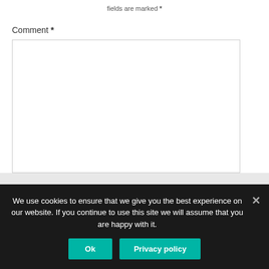fields are marked *
Comment *
[Figure (screenshot): Empty comment text area input box with border]
We use cookies to ensure that we give you the best experience on our website. If you continue to use this site we will assume that you are happy with it.
Ok
Privacy policy